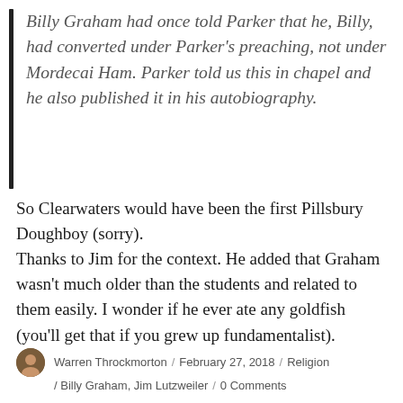Billy Graham had once told Parker that he, Billy, had converted under Parker's preaching, not under Mordecai Ham. Parker told us this in chapel and he also published it in his autobiography.
So Clearwaters would have been the first Pillsbury Doughboy (sorry).
Thanks to Jim for the context. He added that Graham wasn't much older than the students and related to them easily. I wonder if he ever ate any goldfish (you'll get that if you grew up fundamentalist).
Warren Throckmorton / February 27, 2018 / Religion / Billy Graham, Jim Lutzweiler / 0 Comments